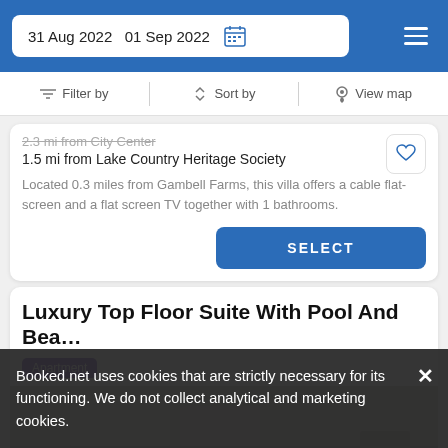31 Aug 2022   01 Sep 2022
Filter by   Sort by   View map
2.3 mi from City Center
1.5 mi from Lake Country Heritage Society
Located 0.3 miles from Gambell Farms, this villa offers a cable flat-screen and a flat screen TV together with 1 bathrooms.
SELECT
Luxury Top Floor Suite With Pool And Bea…
Apartment
[Figure (photo): Interior photo of apartment room with white walls and furniture]
Booked.net uses cookies that are strictly necessary for its functioning. We do not collect analytical and marketing cookies.